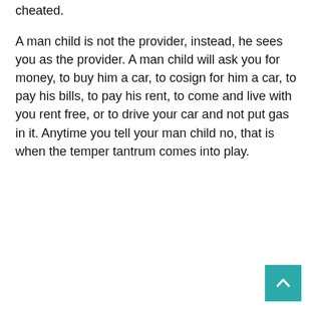cheated.
A man child is not the provider, instead, he sees you as the provider. A man child will ask you for money, to buy him a car, to cosign for him a car, to pay his bills, to pay his rent, to come and live with you rent free, or to drive your car and not put gas in it. Anytime you tell your man child no, that is when the temper tantrum comes into play.
[Figure (other): Advertisement placeholder box with three dots indicator]